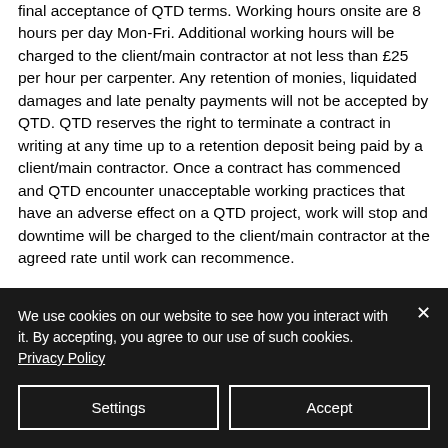final acceptance of QTD terms. Working hours onsite are 8 hours per day Mon-Fri. Additional working hours will be charged to the client/main contractor at not less than £25 per hour per carpenter. Any retention of monies, liquidated damages and late penalty payments will not be accepted by QTD. QTD reserves the right to terminate a contract in writing at any time up to a retention deposit being paid by a client/main contractor. Once a contract has commenced and QTD encounter unacceptable working practices that have an adverse effect on a QTD project, work will stop and downtime will be charged to the client/main contractor at the agreed rate until work can recommence.
We use cookies on our website to see how you interact with it. By accepting, you agree to our use of such cookies. Privacy Policy
Settings
Accept